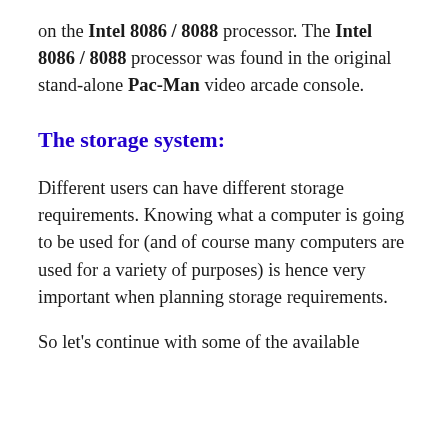on the Intel 8086 / 8088 processor. The Intel 8086 / 8088 processor was found in the original stand-alone Pac-Man video arcade console.
The storage system:
Different users can have different storage requirements. Knowing what a computer is going to be used for (and of course many computers are used for a variety of purposes) is hence very important when planning storage requirements.
So let's continue with some of the available